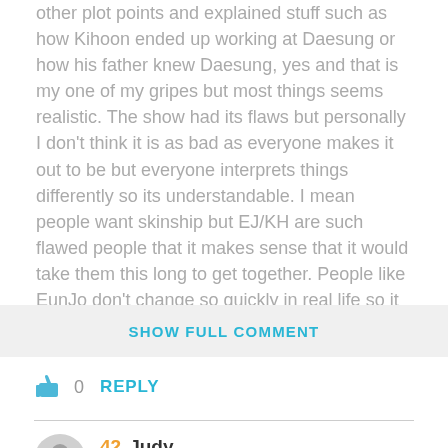other plot points and explained stuff such as how Kihoon ended up working at Daesung or how his father knew Daesung, yes and that is my one of my gripes but most things seems realistic. The show had its flaws but personally I don't think it is as bad as everyone makes it out to be but everyone interprets things differently so its understandable. I mean people want skinship but EJ/KH are such flawed people that it makes sense that it would take them this long to get together. People like EunJo don't change so quickly in real life so it makes sense that she would be this
SHOW FULL COMMENT
0   REPLY
42  Judy
May 30, 2010 at 2:48 AM
@10 Lan